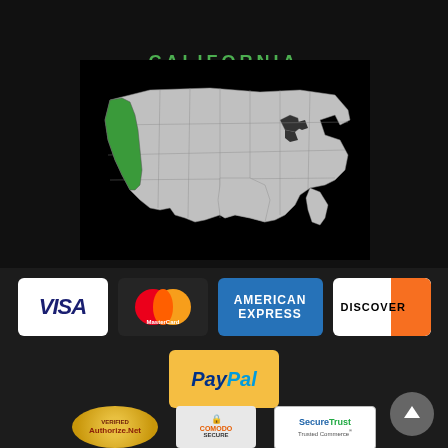CALIFORNIA
CUSTOMERS CLICK HERE
[Figure (map): Map of the United States with California highlighted in green]
[Figure (logo): Payment method logos: Visa, MasterCard, American Express, Discover]
[Figure (logo): PayPal logo]
[Figure (logo): Authorize.Net Verified, Comodo Secure, and SecureTrust Trusted Commerce badges]